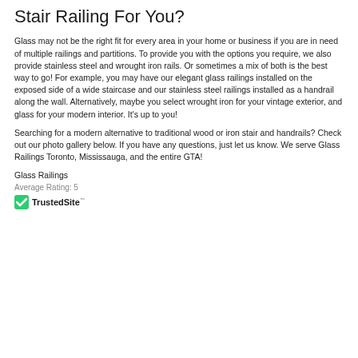Stair Railing For You?
Glass may not be the right fit for every area in your home or business if you are in need of multiple railings and partitions. To provide you with the options you require, we also provide stainless steel and wrought iron rails. Or sometimes a mix of both is the best way to go! For example, you may have our elegant glass railings installed on the exposed side of a wide staircase and our stainless steel railings installed as a handrail along the wall. Alternatively, maybe you select wrought iron for your vintage exterior, and glass for your modern interior. It's up to you!
Searching for a modern alternative to traditional wood or iron stair and handrails? Check out our photo gallery below. If you have any questions, just let us know. We serve Glass Railings Toronto, Mississauga, and the entire GTA!
Glass Railings
Average Rating: 5
[Figure (logo): TrustedSite logo with green checkmark and bold text 'TrustedSite']